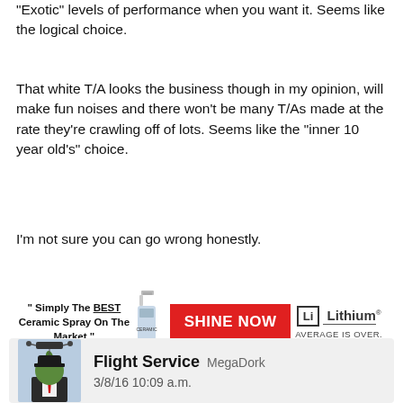"Exotic" levels of performance when you want it. Seems like the logical choice.
That white T/A looks the business though in my opinion, will make fun noises and there won't be many T/As made at the rate they're crawling off of lots. Seems like the "inner 10 year old's" choice.
I'm not sure you can go wrong honestly.
[Figure (infographic): Advertisement banner with text '" Simply The BEST Ceramic Spray On The Market "', a spray bottle image, a red 'SHINE NOW' button, and '[Li] Lithium AVERAGE IS OVER.' branding on the right.]
Flight Service  MegaDork
3/8/16 10:09 a.m.